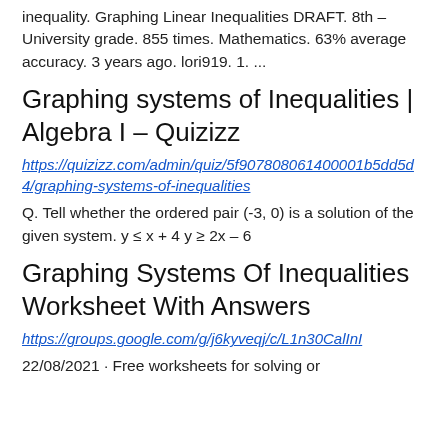inequality. Graphing Linear Inequalities DRAFT. 8th – University grade. 855 times. Mathematics. 63% average accuracy. 3 years ago. lori919. 1. ...
Graphing systems of Inequalities | Algebra I – Quizizz
https://quizizz.com/admin/quiz/5f907808061400001b5dd5d4/graphing-systems-of-inequalities
Q. Tell whether the ordered pair (-3, 0) is a solution of the given system. y ≤ x + 4 y ≥ 2x – 6
Graphing Systems Of Inequalities Worksheet With Answers
https://groups.google.com/g/j6kyveqj/c/L1n30CalInI
22/08/2021 · Free worksheets for solving or